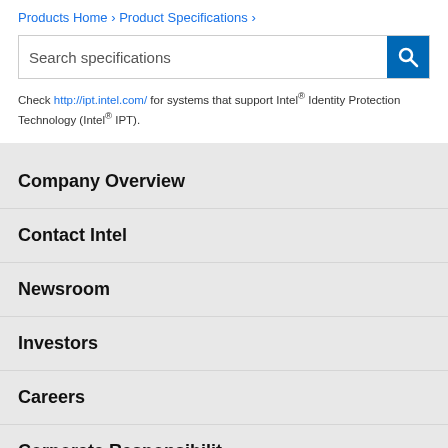Products Home › Product Specifications ›
Search specifications
Check http://ipt.intel.com/ for systems that support Intel® Identity Protection Technology (Intel® IPT).
Company Overview
Contact Intel
Newsroom
Investors
Careers